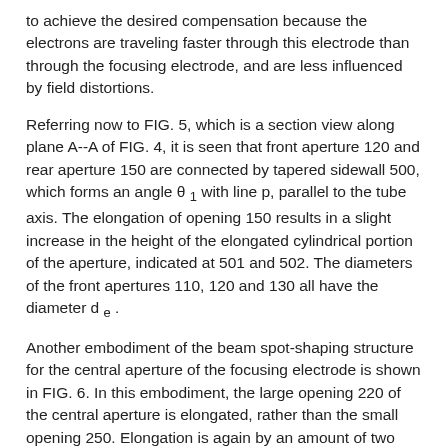to achieve the desired compensation because the electrons are traveling faster through this electrode than through the focusing electrode, and are less influenced by field distortions.
Referring now to FIG. 5, which is a section view along plane A--A of FIG. 4, it is seen that front aperture 120 and rear aperture 150 are connected by tapered sidewall 500, which forms an angle θ₁ with line p, parallel to the tube axis. The elongation of opening 150 results in a slight increase in the height of the elongated cylindrical portion of the aperture, indicated at 501 and 502. The diameters of the front apertures 110, 120 and 130 all have the diameter dₑ.
Another embodiment of the beam spot-shaping structure for the central aperture of the focusing electrode is shown in FIG. 6. In this embodiment, the large opening 220 of the central aperture is elongated, rather than the small opening 250. Elongation is again by an amount of two times rₑ or dₑ, resulting in an elongated dimension Dₑ. For a given amount of compensation, the amount of elongation required in the large opening is generally less than in the small